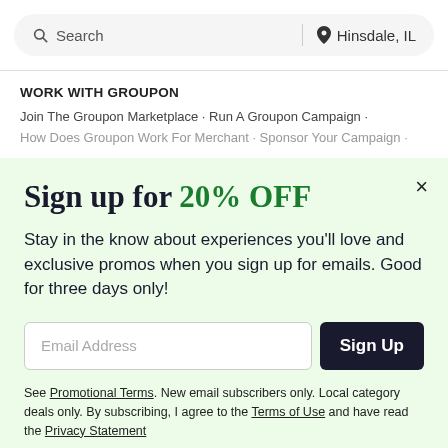Search | Hinsdale, IL
WORK WITH GROUPON
Join The Groupon Marketplace · Run A Groupon Campaign ·
How Does Groupon Work For Merchant · Sponsor Your Campaign ·
Sign up for 20% OFF
Stay in the know about experiences you'll love and exclusive promos when you sign up for emails. Good for three days only!
Email Address
See Promotional Terms. New email subscribers only. Local category deals only. By subscribing, I agree to the Terms of Use and have read the Privacy Statement